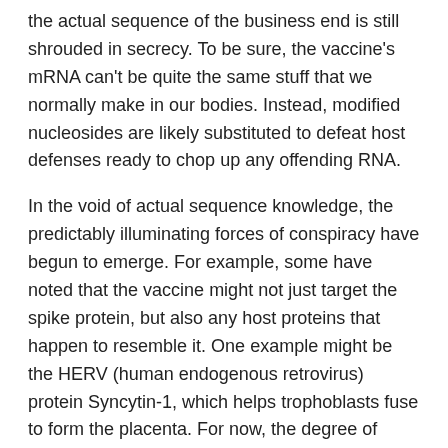the actual sequence of the business end is still shrouded in secrecy. To be sure, the vaccine's mRNA can't be quite the same stuff that we normally make in our bodies. Instead, modified nucleosides are likely substituted to defeat host defenses ready to chop up any offending RNA.
In the void of actual sequence knowledge, the predictably illuminating forces of conspiracy have begun to emerge. For example, some have noted that the vaccine might not just target the spike protein, but also any host proteins that happen to resemble it. One example might be the HERV (human endogenous retrovirus) protein Syncytin-1, which helps trophoblasts fuse to form the placenta. For now, the degree of sequence overlap and structural homology remains to be seen.
While the question of who should get vaccines or costly treatments for SARS first has been highly politicized in recent times, we can only hope that clear heads will prevail. When the New York Times is quoting medical ethics professors who claim